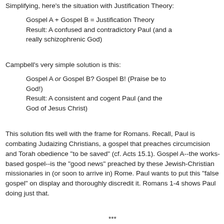Simplifying, here's the situation with Justification Theory:
Gospel A + Gospel B = Justification Theory
Result: A confused and contradictory Paul (and a really schizophrenic God)
Campbell's very simple solution is this:
Gospel A or Gospel B? Gospel B! (Praise be to God!)
Result: A consistent and cogent Paul (and the God of Jesus Christ)
This solution fits well with the frame for Romans. Recall, Paul is combating Judaizing Christians, a gospel that preaches circumcision and Torah obedience "to be saved" (cf. Acts 15.1). Gospel A--the works-based gospel--is the "good news" preached by these Jewish-Christian missionaries in (or soon to arrive in) Rome. Paul wants to put this "false gospel" on display and thoroughly discredit it. Romans 1-4 shows Paul doing just that.
***